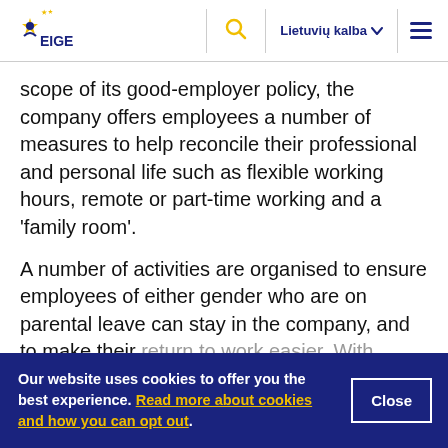EIGE — Lietuvių kalba
scope of its good-employer policy, the company offers employees a number of measures to help reconcile their professional and personal life such as flexible working hours, remote or part-time working and a 'family room'.
A number of activities are organised to ensure employees of either gender who are on parental leave can stay in the company, and to make their return to work easier. With initiatives targeting men
Our website uses cookies to offer you the best experience. Read more about cookies and how you can opt out.